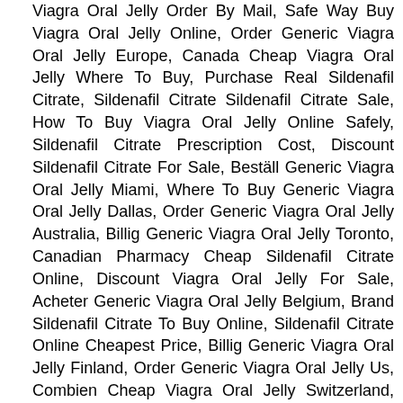Viagra Oral Jelly Order By Mail, Safe Way Buy Viagra Oral Jelly Online, Order Generic Viagra Oral Jelly Europe, Canada Cheap Viagra Oral Jelly Where To Buy, Purchase Real Sildenafil Citrate, Sildenafil Citrate Sildenafil Citrate Sale, How To Buy Viagra Oral Jelly Online Safely, Sildenafil Citrate Prescription Cost, Discount Sildenafil Citrate For Sale, Beställ Generic Viagra Oral Jelly Miami, Where To Buy Generic Viagra Oral Jelly Dallas, Order Generic Viagra Oral Jelly Australia, Billig Generic Viagra Oral Jelly Toronto, Canadian Pharmacy Cheap Sildenafil Citrate Online, Discount Viagra Oral Jelly For Sale, Acheter Generic Viagra Oral Jelly Belgium, Brand Sildenafil Citrate To Buy Online, Sildenafil Citrate Online Cheapest Price, Billig Generic Viagra Oral Jelly Finland, Order Generic Viagra Oral Jelly Us, Combien Cheap Viagra Oral Jelly Switzerland, Buy Sildenafil Citrate Counter, Where To Get Generic Viagra Oral Jelly L'espagne, Where To Purchase Viagra Oral Jelly Online, Buy Sildenafil Citrate Original Online Cheap, Best Place To Order Sildenafil Citrate, Where To Purchase Cheap Viagra Oral Jelly Atlanta, Cheap Sildenafil Citrate Overnight Delivery, Sildenafil Citrate Generic For Sale, Beställ Online Viagra Oral Jelly Norge, Acheter Viagra Oral Jelly Legalement, Cost Of Low Dose Viagra Oral Jelly, Ou Acheter Du